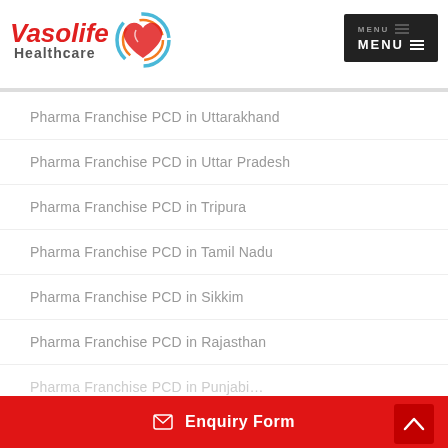[Figure (logo): Vasolife Healthcare logo with stylized heart icon and red italic text]
[Figure (other): Dark MENU button with hamburger icon lines]
Pharma Franchise PCD in Uttarakhand
Pharma Franchise PCD in Uttar Pradesh
Pharma Franchise PCD in Tripura
Pharma Franchise PCD in Tamil Nadu
Pharma Franchise PCD in Sikkim
Pharma Franchise PCD in Rajasthan
Pharma Franchise PCD in Punjab (partial)
✉ Enquiry Form